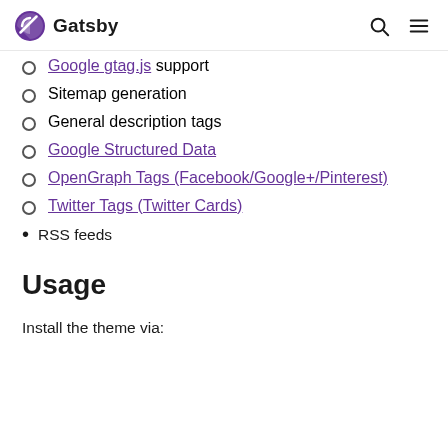Gatsby
Google gtag.js support
Sitemap generation
General description tags
Google Structured Data
OpenGraph Tags (Facebook/Google+/Pinterest)
Twitter Tags (Twitter Cards)
RSS feeds
Usage
Install the theme via: